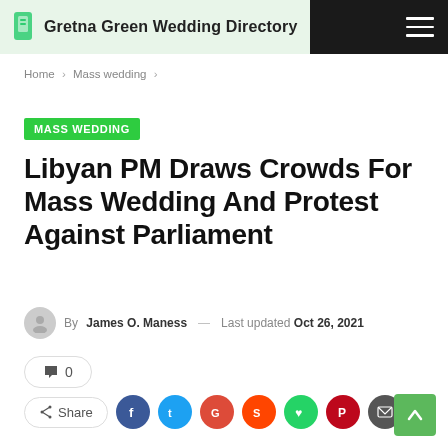Gretna Green Wedding Directory
Home > Mass wedding >
MASS WEDDING
Libyan PM Draws Crowds For Mass Wedding And Protest Against Parliament
By James O. Maness — Last updated Oct 26, 2021
0
Share